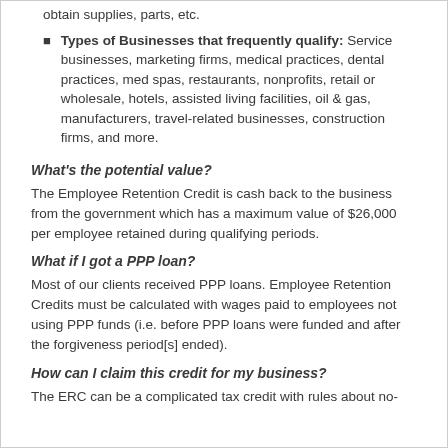obtain supplies, parts, etc.
Types of Businesses that frequently qualify: Service businesses, marketing firms, medical practices, dental practices, med spas, restaurants, nonprofits, retail or wholesale, hotels, assisted living facilities, oil & gas, manufacturers, travel-related businesses, construction firms, and more.
What's the potential value?
The Employee Retention Credit is cash back to the business from the government which has a maximum value of $26,000 per employee retained during qualifying periods.
What if I got a PPP loan?
Most of our clients received PPP loans. Employee Retention Credits must be calculated with wages paid to employees not using PPP funds (i.e. before PPP loans were funded and after the forgiveness period[s] ended).
How can I claim this credit for my business?
The ERC can be a complicated tax credit with rules about no-